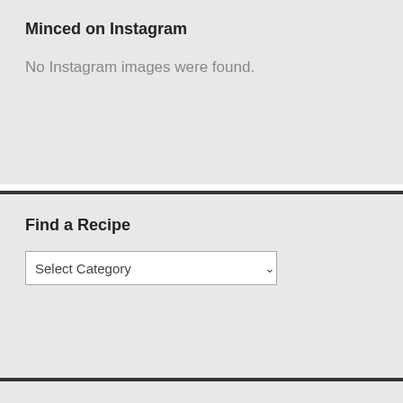Minced on Instagram
No Instagram images were found.
Find a Recipe
[Figure (screenshot): A dropdown select box labeled 'Select Category' with a chevron/arrow on the right side]
Search